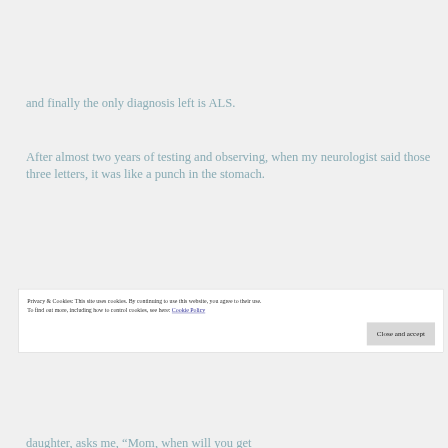and finally the only diagnosis left is ALS.
After almost two years of testing and observing, when my neurologist said those three letters, it was like a punch in the stomach.
Privacy & Cookies: This site uses cookies. By continuing to use this website, you agree to their use. To find out more, including how to control cookies, see here: Cookie Policy
Close and accept
daughter, asks me, “Mom, when will you get